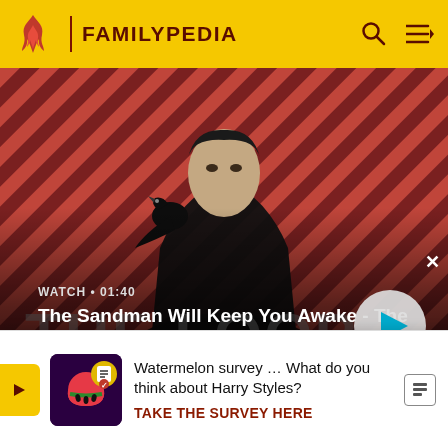FAMILYPEDIA
[Figure (screenshot): Video thumbnail showing a dark-cloaked figure with a raven on shoulder against a red striped background. Title says 'The Sandman Will Keep You Awake - The Loop'. WATCH • 01:40. Play button visible.]
structure and added approximately 35,000 square feet (3,300 m²) to the school. Their teams are known as the Nort... ools, Jerom... mid- 2010,
[Figure (infographic): Notification popup: watermelon-themed survey image on left. Text: 'Watermelon survey … What do you think about Harry Styles? TAKE THE SURVEY HERE']